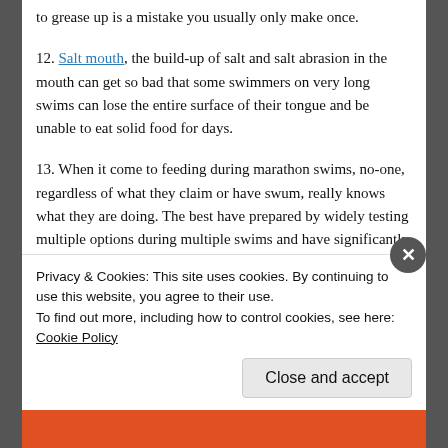to grease up is a mistake you usually only make once.
12. Salt mouth, the build-up of salt and salt abrasion in the mouth can get so bad that some swimmers on very long swims can lose the entire surface of their tongue and be unable to eat solid food for days.
13. When it come to feeding during marathon swims, no-one, regardless of what they claim or have swum, really knows what they are doing. The best have prepared by widely testing multiple options during multiple swims and have significantly reduced potential problems. But the science and lack of study of nutrition during marathon swims
Privacy & Cookies: This site uses cookies. By continuing to use this website, you agree to their use.
To find out more, including how to control cookies, see here: Cookie Policy
Close and accept